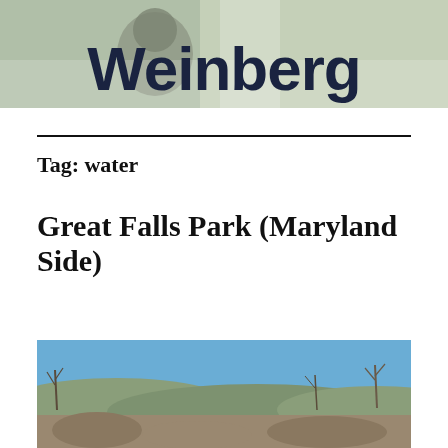[Figure (photo): Partial view of a blog header image with the text 'Weinberg' in large bold dark blue letters over a nature/monkey background photo]
Tag: water
Great Falls Park (Maryland Side)
[Figure (photo): Outdoor landscape photo showing rocky terrain, bare winter trees, and a blue sky, appearing to be at Great Falls Park on the Maryland side]